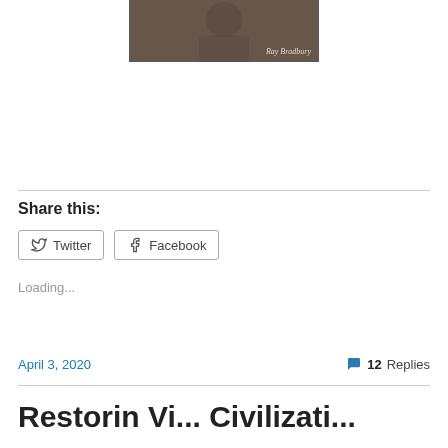[Figure (photo): Cropped photo of Ray Bradbury with name watermark in bottom right corner]
Share this:
Twitter  Facebook
Loading...
April 3, 2020
12 Replies
Restorin Vi... Civilizati...